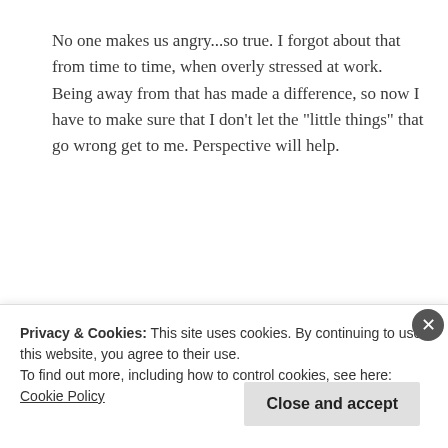No one makes us angry...so true. I forgot about that from time to time, when overly stressed at work. Being away from that has made a difference, so now I have to make sure that I don’t let the “little things” that go wrong get to me. Perspective will help.
Reply
lois says:
2 years ago
Privacy & Cookies: This site uses cookies. By continuing to use this website, you agree to their use.
To find out more, including how to control cookies, see here: Cookie Policy
Close and accept